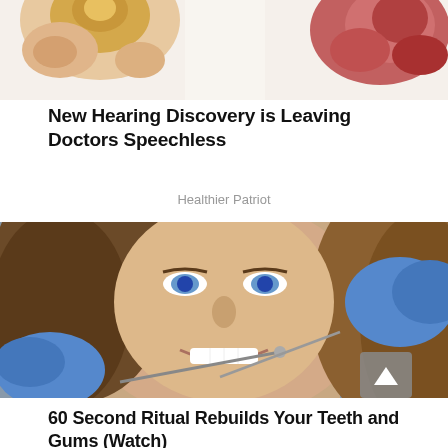[Figure (photo): Medical illustration showing ear anatomy bones at top of page, cropped]
New Hearing Discovery is Leaving Doctors Speechless
Healthier Patriot
[Figure (photo): Young woman smiling at dentist, dental tools being used by blue-gloved hands]
60 Second Ritual Rebuilds Your Teeth and Gums (Watch)